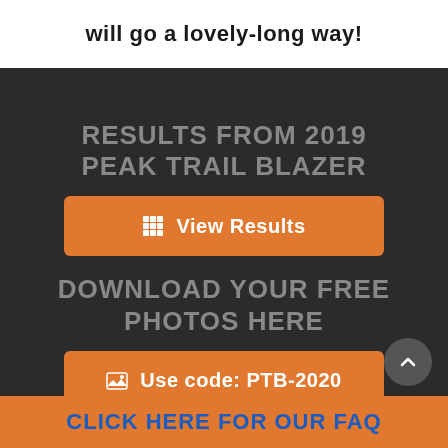will go a lovely-long way!
RESULTS FROM 2019 PEAK TRAIL BLAZER
View Results
DOWNLOAD YOUR FREE PHOTOS HERE
Use code: PTB-2020
CLICK HERE FOR OUR FAQ